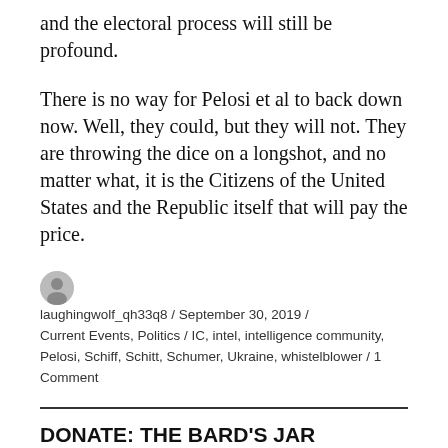and the electoral process will still be profound.
There is no way for Pelosi et al to back down now. Well, they could, but they will not. They are throwing the dice on a longshot, and no matter what, it is the Citizens of the United States and the Republic itself that will pay the price.
laughingwolf_qh33q8 / September 30, 2019 / Current Events, Politics / IC, intel, intelligence community, Pelosi, Schiff, Schitt, Schumer, Ukraine, whistelblower / 1 Comment
DONATE: THE BARD'S JAR